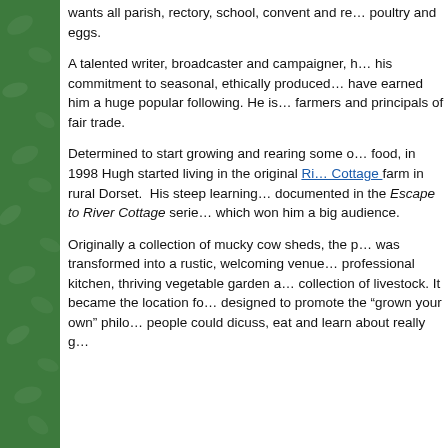[Figure (illustration): Green sidebar with leaf/foliage pattern texture on left side of page]
wants all parish, rectory, school, convent and re... poultry and eggs.
A talented writer, broadcaster and campaigner, h... his commitment to seasonal, ethically produced... have earned him a huge popular following. He is... farmers and principals of fair trade.
Determined to start growing and rearing some o... food, in 1998 Hugh started living in the original River Cottage farm in rural Dorset. His steep learning... documented in the Escape to River Cottage serie... which won him a big audience.
Originally a collection of mucky cow sheds, the p... was transformed into a rustic, welcoming venue... professional kitchen, thriving vegetable garden a... collection of livestock. It became the location fo... designed to promote the "grown your own" philo... people could dicuss, eat and learn about really g...